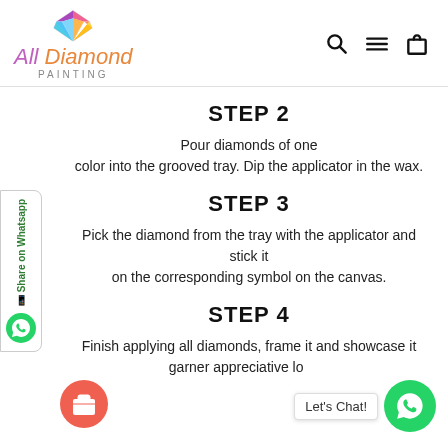[Figure (logo): All Diamond Painting logo with colorful gem icon and stylized text]
STEP 2
Pour diamonds of one color into the grooved tray. Dip the applicator in the wax.
STEP 3
Pick the diamond from the tray with the applicator and stick it on the corresponding symbol on the canvas.
STEP 4
Finish applying all diamonds, frame it and showcase it to garner appreciative looks.